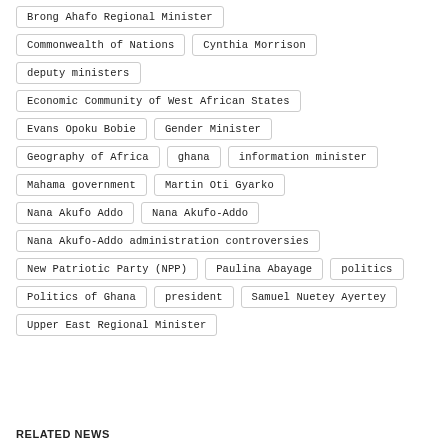Brong Ahafo Regional Minister
Commonwealth of Nations
Cynthia Morrison
deputy ministers
Economic Community of West African States
Evans Opoku Bobie
Gender Minister
Geography of Africa
ghana
information minister
Mahama government
Martin Oti Gyarko
Nana Akufo Addo
Nana Akufo-Addo
Nana Akufo-Addo administration controversies
New Patriotic Party (NPP)
Paulina Abayage
politics
Politics of Ghana
president
Samuel Nuetey Ayertey
Upper East Regional Minister
RELATED NEWS